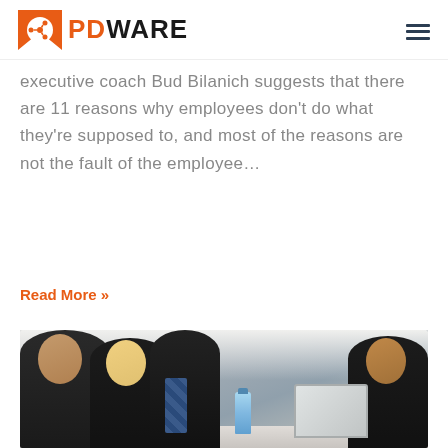PDWARE
executive coach Bud Bilanich suggests that there are 11 reasons why employees don't do what they're supposed to, and most of the reasons are not the fault of the employee…
Read More »
[Figure (photo): Group of business professionals at a meeting table with a laptop. Three women and one man visible, all smiling, in professional attire.]